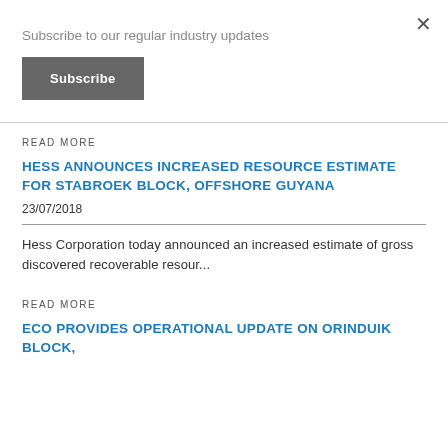Subscribe to our regular industry updates
Subscribe
READ MORE
HESS ANNOUNCES INCREASED RESOURCE ESTIMATE FOR STABROEK BLOCK, OFFSHORE GUYANA
23/07/2018
Hess Corporation today announced an increased estimate of gross discovered recoverable resour...
READ MORE
ECO PROVIDES OPERATIONAL UPDATE ON ORINDUIK BLOCK,